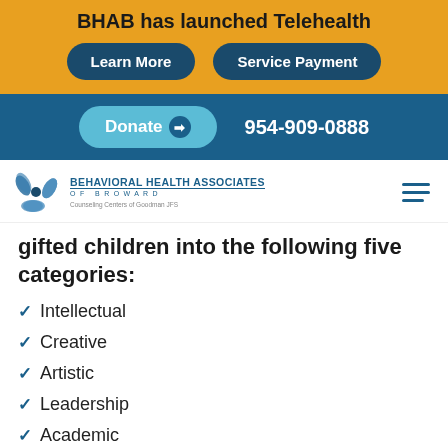BHAB has launched Telehealth
Learn More | Service Payment
Donate ➔  954-909-0888
[Figure (logo): Behavioral Health Associates of Broward logo with swirl icon and text 'Counseling Centers of Goodman JFS']
gifted children into the following five categories:
Intellectual
Creative
Artistic
Leadership
Academic